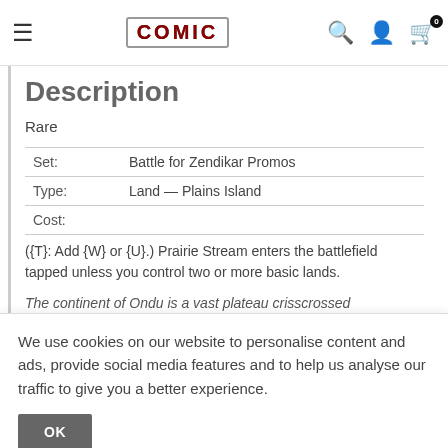COMIC [navigation bar with hamburger, logo, search, account, cart icons]
Description
Rare
|  |  |
| --- | --- |
| Set: | Battle for Zendikar Promos |
| Type: | Land — Plains Island |
| Cost: |  |
({T}: Add {W} or {U}.) Prairie Stream enters the battlefield tapped unless you control two or more basic lands.
The continent of Ondu is a vast plateau crisscrossed
We use cookies on our website to personalise content and ads, provide social media features and to help us analyse our traffic to give you a better experience.
Payment & Security